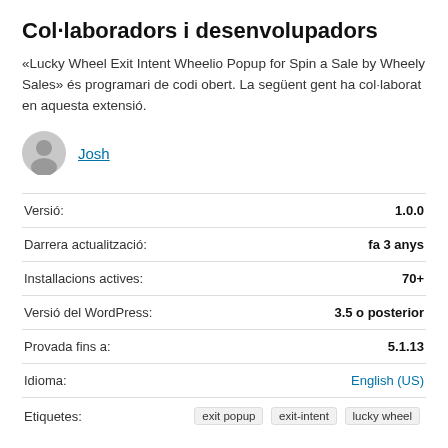Col·laboradors i desenvolupadors
«Lucky Wheel Exit Intent Wheelio Popup for Spin a Sale by Wheely Sales» és programari de codi obert. La següent gent ha col·laborat en aquesta extensió.
Josh
|  |  |
| --- | --- |
| Versió: | 1.0.0 |
| Darrera actualització: | fa 3 anys |
| Installacions actives: | 70+ |
| Versió del WordPress: | 3.5 o posterior |
| Provada fins a: | 5.1.13 |
| Idioma: | English (US) |
| Etiquetes: | exit popup  exit-intent  lucky wheel |